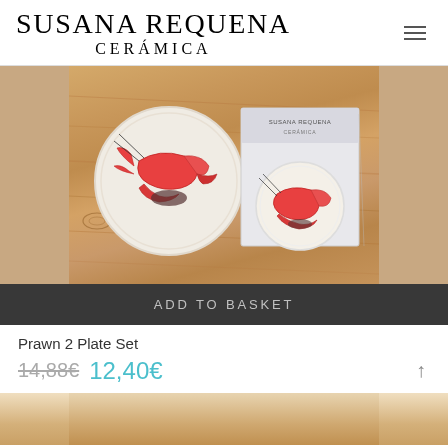SUSANA REQUENA CERÁMICA
[Figure (photo): Product photo showing two ceramic plates with hand-painted prawn/shrimp illustration on a wooden surface, alongside a branded Susana Requena Cerámica gift card/box.]
ADD TO BASKET
Prawn 2 Plate Set
14,88€  12,40€
[Figure (photo): Partial bottom view of another ceramic product on wooden surface.]